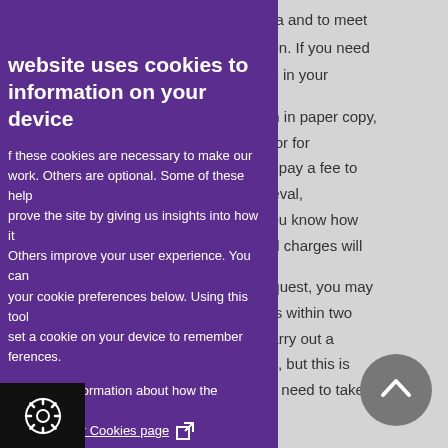ata and to meet
tion. If you need
us in your
on in paper copy,
s or for
st pay a fee to
rieval,
you know how
nd charges will
equest, you may
his within two
carry out a
ys, but this is
lly need to take
website uses cookies to store information on your device
f these cookies are necessary to make our
work. Others are optional. Some of these help
rove the site by giving us insights into how it
Others improve your user experience. You can
your cookie preferences below. Using this tool
set a cookie on your device to remember
ferences.
e detailed information about how the cookies
work, see our Cookies page
t all cookies
tional cookies
n
ts under the
Protection Act
ce team: